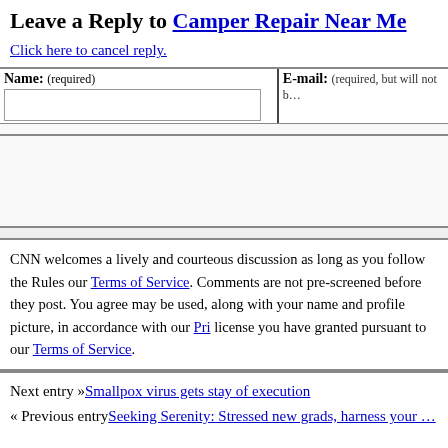Leave a Reply to Camper Repair Near Me
Click here to cancel reply.
| Name: (required) | E-mail: (required, but will not …) |
| --- | --- |
|   |   |
CNN welcomes a lively and courteous discussion as long as you follow the Rules our Terms of Service. Comments are not pre-screened before they post. You agree may be used, along with your name and profile picture, in accordance with our Pri license you have granted pursuant to our Terms of Service.
Next entry »Smallpox virus gets stay of execution
« Previous entrySeeking Serenity: Stressed new grads, harness your …